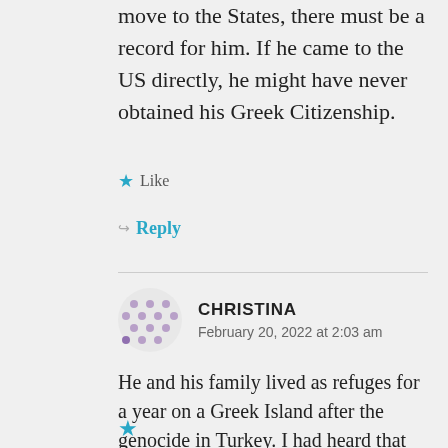move to the States, there must be a record for him. If he came to the US directly, he might have never obtained his Greek Citizenship.
Like
Reply
CHRISTINA
February 20, 2022 at 2:03 am
He and his family lived as refuges for a year on a Greek Island after the genocide in Turkey. I had heard that descendants of Anatolian Greeks who were displaced during the genocide were eligible for citizenship but that might not be true.